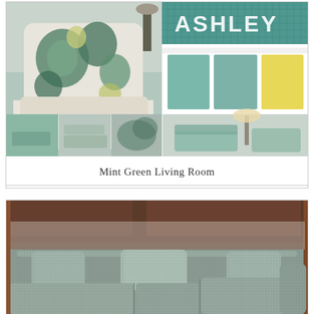[Figure (photo): Mint green living room collage: floral patterned accent chair on left, Ashley furniture brand logo top right, teal and yellow color swatches middle right, bottom row showing multiple living room scenes with mint green sofas and decor]
Mint Green Living Room
[Figure (photo): Gray-green sectional sofa with large cushions and back pillows, photographed against a dark wood background]